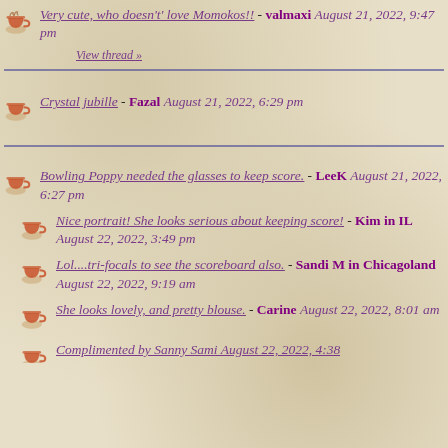Very cute, who doesn't' love Momokos!! - valmaxi August 21, 2022, 9:47 pm
View thread »
Crystal jubille - Fazal August 21, 2022, 6:29 pm
Bowling Poppy needed the glasses to keep score. - LeeK August 21, 2022, 6:27 pm
Nice portrait! She looks serious about keeping score! - Kim in IL August 22, 2022, 3:49 pm
Lol....tri-focals to see the scoreboard also. - Sandi M in Chicagoland August 22, 2022, 9:19 am
She looks lovely, and pretty blouse. - Carine August 22, 2022, 8:01 am